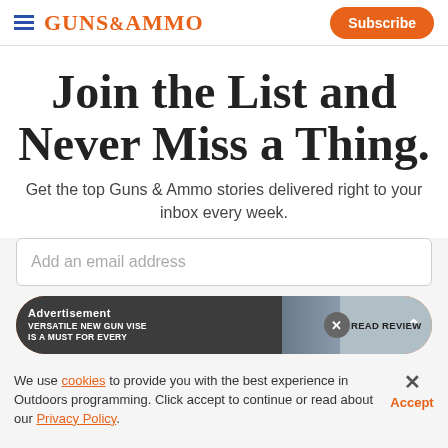GUNS&AMMO — Subscribe
Join the List and Never Miss a Thing.
Get the top Guns & Ammo stories delivered right to your inbox every week.
Add an email address
[Figure (screenshot): Orange subscribe/join button with advertisement overlay: dark banner reading 'Advertisement' and 'VERSATILE NEW GUN VISE IS A MUST FOR EVERY' with READ REVIEW button and close X button]
We use cookies to provide you with the best experience in Outdoors programming. Click accept to continue or read about our Privacy Policy.